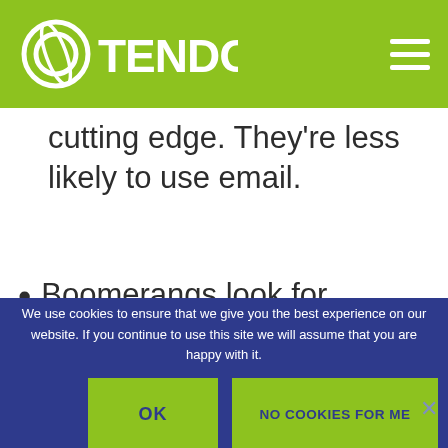OTENDO
cutting edge. They're less likely to use email.
Boomerangs look for
We use cookies to ensure that we give you the best experience on our website. If you continue to use this site we will assume that you are happy with it.
OK
NO COOKIES FOR ME
PRIVACY POLICY